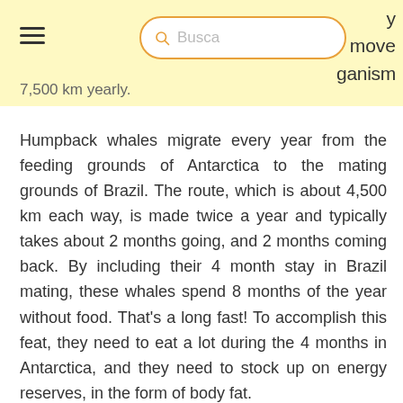move organism 7,500 km yearly.
Humpback whales migrate every year from the feeding grounds of Antarctica to the mating grounds of Brazil. The route, which is about 4,500 km each way, is made twice a year and typically takes about 2 months going, and 2 months coming back. By including their 4 month stay in Brazil mating, these whales spend 8 months of the year without food. That's a long fast! To accomplish this feat, they need to eat a lot during the 4 months in Antarctica, and they need to stock up on energy reserves, in the form of body fat.